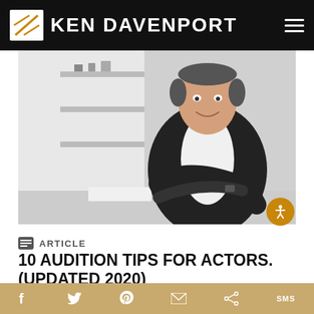KEN DAVENPORT
[Figure (photo): Man in dark blazer with white shirt sitting at a desk with arms crossed, smiling, with shelves and trophies in the background]
ARTICLE
10 AUDITION TIPS FOR ACTORS. (UPDATED 2020)
f  Twitter  Pinterest  Email  Share  SMS